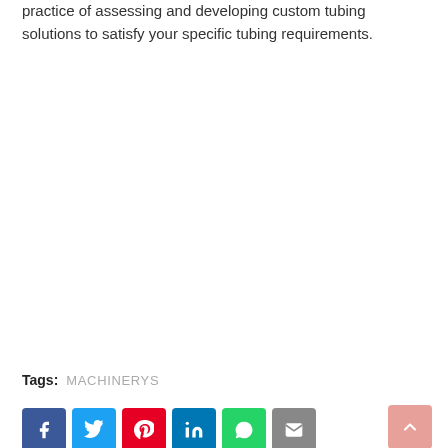practice of assessing and developing custom tubing solutions to satisfy your specific tubing requirements.
Tags: MACHINERYS
[Figure (other): Social share buttons: Facebook, Twitter, Pinterest, LinkedIn, WhatsApp, Email, and a back-to-top button]